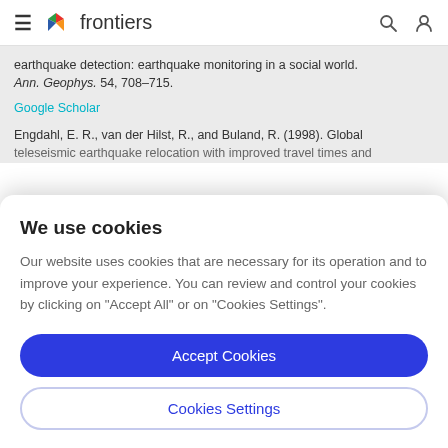frontiers
earthquake detection: earthquake monitoring in a social world. Ann. Geophys. 54, 708–715.
Google Scholar
Engdahl, E. R., van der Hilst, R., and Buland, R. (1998). Global teleseismic earthquake relocation with improved travel times and
We use cookies
Our website uses cookies that are necessary for its operation and to improve your experience. You can review and control your cookies by clicking on "Accept All" or on "Cookies Settings".
Accept Cookies
Cookies Settings